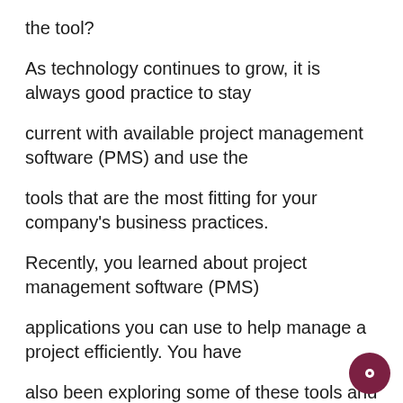the tool?
As technology continues to grow, it is always good practice to stay
current with available project management software (PMS) and use the
tools that are the most fitting for your company's business practices.
Recently, you learned about project management software (PMS)
applications you can use to help manage a project efficiently. You have
also been exploring some of these tools and applications. In this
activity, you will identify one PMS tool that you think can